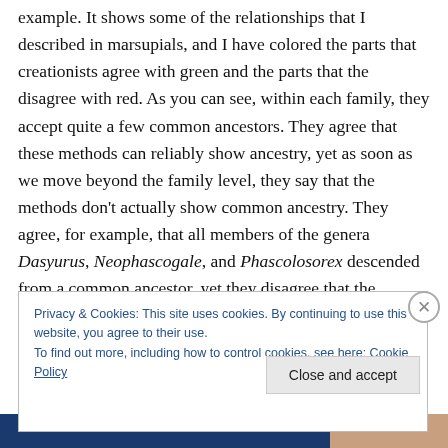example. It shows some of the relationships that I described in marsupials, and I have colored the parts that creationists agree with green and the parts that the disagree with red. As you can see, within each family, they accept quite a few common ancestors. They agree that these methods can reliably show ancestry, yet as soon as we move beyond the family level, they say that the methods don't actually show common ancestry. They agree, for example, that all members of the genera Dasyurus, Neophascogale, and Phascolosorex descended from a common ancestor, yet they disagree that the
Privacy & Cookies: This site uses cookies. By continuing to use this website, you agree to their use.
To find out more, including how to control cookies, see here: Cookie Policy
Close and accept